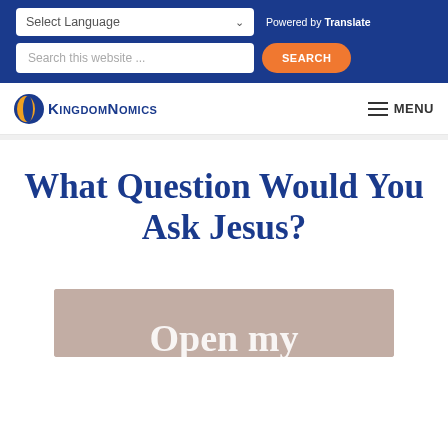Select Language | Powered by Translate | Search this website... SEARCH
[Figure (logo): KingdomNomics logo with circular icon and text]
MENU
What Question Would You Ask Jesus?
[Figure (photo): Partial bottom image with text 'Open my' on a tan/mauve background]